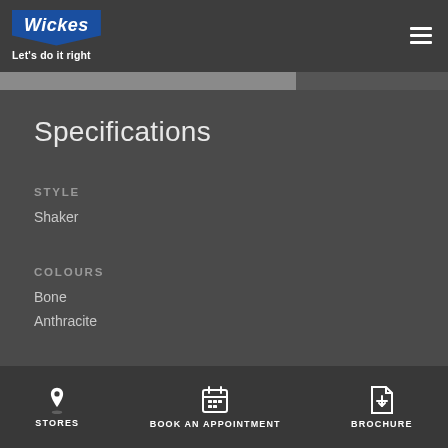Wickes — Let's do it right
Specifications
STYLE
Shaker
COLOURS
Bone
Anthracite
STORES   BOOK AN APPOINTMENT   BROCHURE